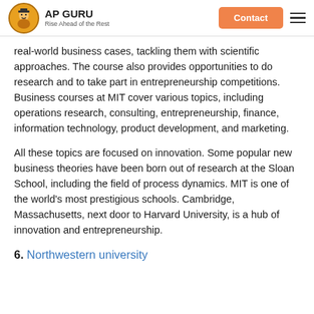AP GURU | Rise Ahead of the Rest | Contact
real-world business cases, tackling them with scientific approaches. The course also provides opportunities to do research and to take part in entrepreneurship competitions. Business courses at MIT cover various topics, including operations research, consulting, entrepreneurship, finance, information technology, product development, and marketing.
All these topics are focused on innovation. Some popular new business theories have been born out of research at the Sloan School, including the field of process dynamics. MIT is one of the world's most prestigious schools. Cambridge, Massachusetts, next door to Harvard University, is a hub of innovation and entrepreneurship.
6. Northwestern university